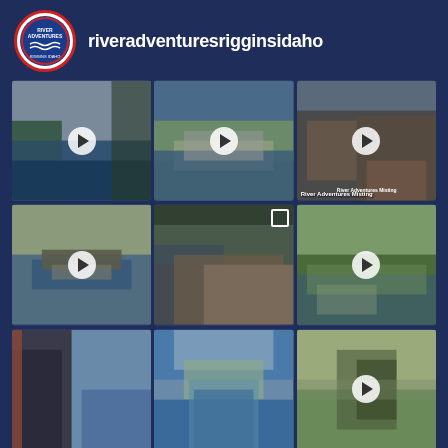[Figure (screenshot): Instagram profile page for riveradventuresrigginsidaho showing a 3x3 grid of river adventure photos and videos]
riveradventuresrigginsidaho